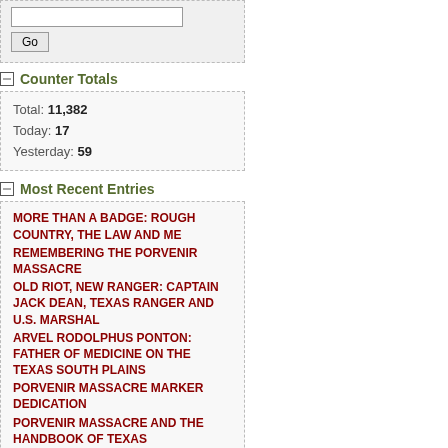Counter Totals
Total: 11,382
Today: 17
Yesterday: 59
Most Recent Entries
MORE THAN A BADGE: ROUGH COUNTRY, THE LAW AND ME
REMEMBERING THE PORVENIR MASSACRE
OLD RIOT, NEW RANGER: CAPTAIN JACK DEAN, TEXAS RANGER AND U.S. MARSHAL
ARVEL RODOLPHUS PONTON: FATHER OF MEDICINE ON THE TEXAS SOUTH PLAINS
PORVENIR MASSACRE MARKER DEDICATION
PORVENIR MASSACRE AND THE HANDBOOK OF TEXAS
WAR IN EAST TEXAS: REGULATORS VS. MODERATORS
HIGHER EDUCATION IN TEXAS: ITS BEGINNINGS TO 1970